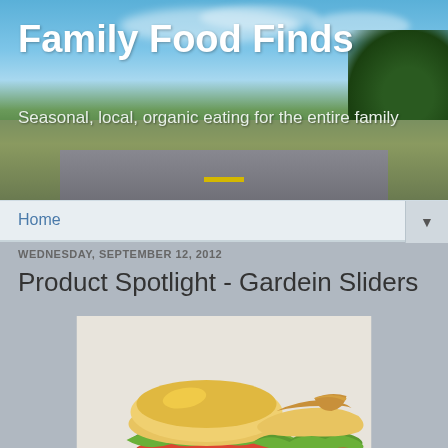[Figure (photo): Blog header banner with sky, road and trees background]
Family Food Finds
Seasonal, local, organic eating for the entire family
Home
WEDNESDAY, SEPTEMBER 12, 2012
Product Spotlight - Gardein Sliders
[Figure (photo): Two Gardein sliders/veggie burgers with lettuce, tomato, and onion on buns, one with a bite taken out]